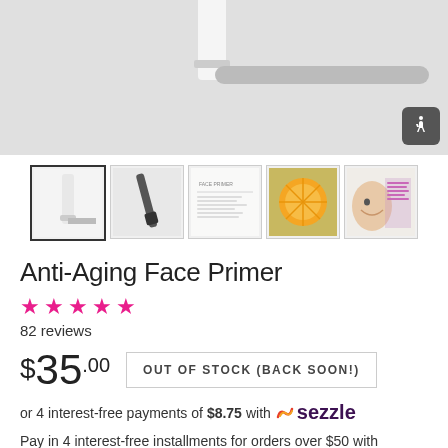[Figure (photo): Product photo area showing top of a white cosmetic tube/primer against light gray background with shadow]
[Figure (photo): Thumbnail strip with 5 product images: selected frame showing white tube, brush/applicator, ingredient list, orange slices, smiling face with text overlay]
Anti-Aging Face Primer
★★★★★ 82 reviews
$35.00 OUT OF STOCK (BACK SOON!)
or 4 interest-free payments of $8.75 with Sezzle
Pay in 4 interest-free installments for orders over $50 with shop Pay Learn more